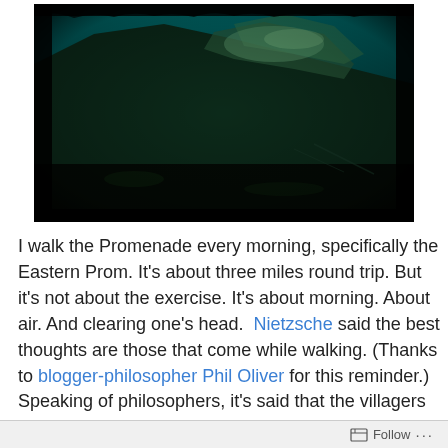[Figure (photo): A dark landscape photograph with a black vignette border effect. The image shows a hillside or rocky terrain with dark forest/vegetation against a teal/dark sky. The photo has a heavily processed, high-contrast look with darkened edges giving a vintage film-border aesthetic.]
I walk the Promenade every morning, specifically the Eastern Prom. It's about three miles round trip. But it's not about the exercise. It's about morning. About air. And clearing one's head.  Nietzsche said the best thoughts are those that come while walking. (Thanks to blogger-philosopher Phil Oliver for this reminder.) Speaking of philosophers, it's said that the villagers of Königsberg set their pocket watches by the grand-old rational-man, Kant.
Follow ···